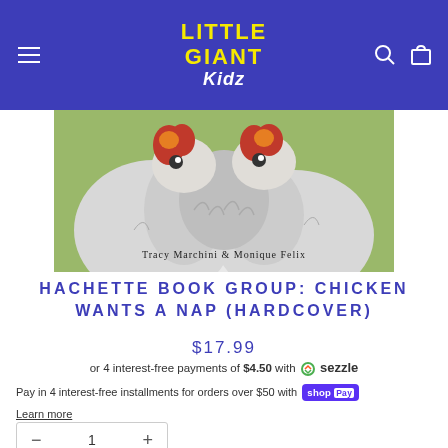LITTLE GIANT Kidz
[Figure (photo): Close-up of a white chicken book cover illustration with text 'Tracy Marchini & Monique Felix']
HACHETTE BOOK GROUP: CHICKEN WANTS A NAP (HARDCOVER)
$17.99
or 4 interest-free payments of $4.50 with Sezzle
Pay in 4 interest-free installments for orders over $50 with Shop Pay
Learn more